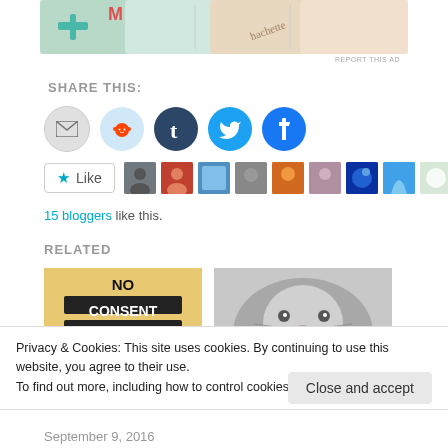[Figure (photo): Partial view of an advertisement banner with colorful cards/tiles including medical and Hachette branded items]
REPORT THIS AD
SHARE THIS:
[Figure (infographic): Row of social share icon buttons: email (gray), Reddit (light blue), Tumblr (dark blue), Twitter (blue), Facebook (blue)]
[Figure (infographic): Like button with star icon followed by a row of 9 blogger avatar thumbnails]
15 bloggers like this.
RELATED
[Figure (photo): Related article image showing 'NO CONSENT' text on yellow background with black rectangles]
[Figure (photo): Related article image showing a close-up black and white photo of a rat/mouse face]
Privacy & Cookies: This site uses cookies. By continuing to use this website, you agree to their use.
To find out more, including how to control cookies, see here: Cookie Policy
Close and accept
September 9, 2016